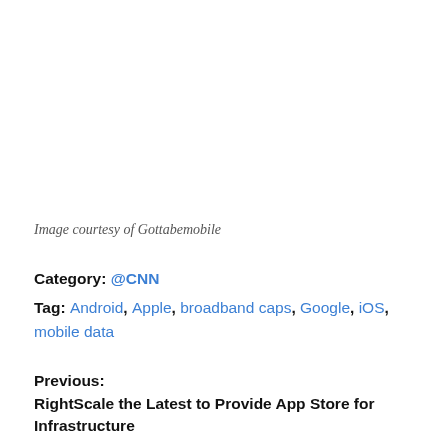Image courtesy of Gottabemobile
Category: @CNN
Tag: Android, Apple, broadband caps, Google, iOS, mobile data
Previous:
RightScale the Latest to Provide App Store for Infrastructure